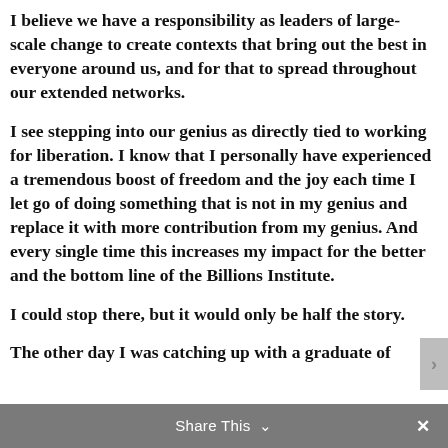I believe we have a responsibility as leaders of large-scale change to create contexts that bring out the best in everyone around us, and for that to spread throughout our extended networks.
I see stepping into our genius as directly tied to working for liberation. I know that I personally have experienced a tremendous boost of freedom and the joy each time I let go of doing something that is not in my genius and replace it with more contribution from my genius. And every single time this increases my impact for the better and the bottom line of the Billions Institute.
I could stop there, but it would only be half the story.
The other day I was catching up with a graduate of
Share This ∨  ×